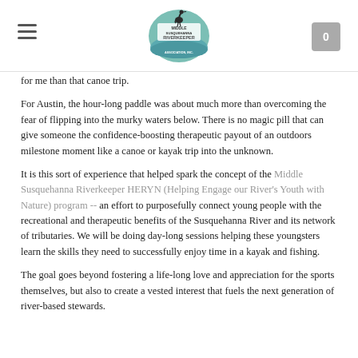Middle Susquehanna Riverkeeper Association, Inc.
for me than that canoe trip.
For Austin, the hour-long paddle was about much more than overcoming the fear of flipping into the murky waters below. There is no magic pill that can give someone the confidence-boosting therapeutic payout of an outdoors milestone moment like a canoe or kayak trip into the unknown.
It is this sort of experience that helped spark the concept of the Middle Susquehanna Riverkeeper HERYN (Helping Engage our River's Youth with Nature) program -- an effort to purposefully connect young people with the recreational and therapeutic benefits of the Susquehanna River and its network of tributaries. We will be doing day-long sessions helping these youngsters learn the skills they need to successfully enjoy time in a kayak and fishing.
The goal goes beyond fostering a life-long love and appreciation for the sports themselves, but also to create a vested interest that fuels the next generation of river-based stewards.